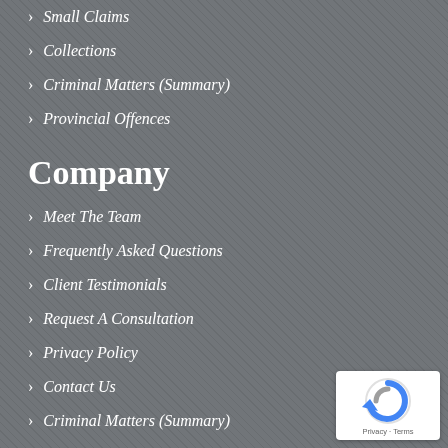Small Claims
Collections
Criminal Matters (Summary)
Provincial Offences
Company
Meet The Team
Frequently Asked Questions
Client Testimonials
Request A Consultation
Privacy Policy
Contact Us
Criminal Matters (Summary)
[Figure (logo): reCAPTCHA badge with Privacy and Terms links]